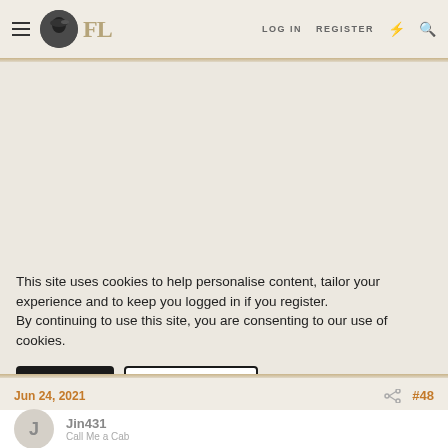FL | LOG IN | REGISTER
This site uses cookies to help personalise content, tailor your experience and to keep you logged in if you register. By continuing to use this site, you are consenting to our use of cookies.
✓ ACCEPT   LEARN MORE...
Jun 24, 2021   #48
Jin431
Call Me a Cab